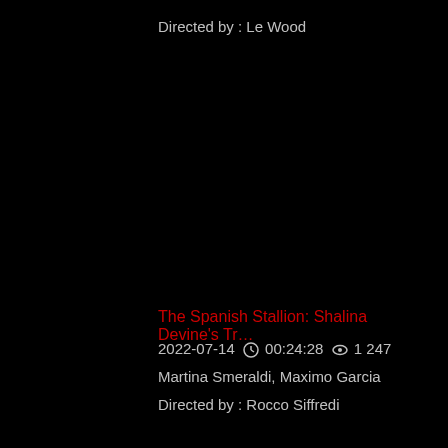Directed by : Le Wood
The Spanish Stallion: Shalina Devine's Tr…
2022-07-14   🕐 00:24:28   👁 1 247
Martina Smeraldi, Maximo Garcia
Directed by : Rocco Siffredi